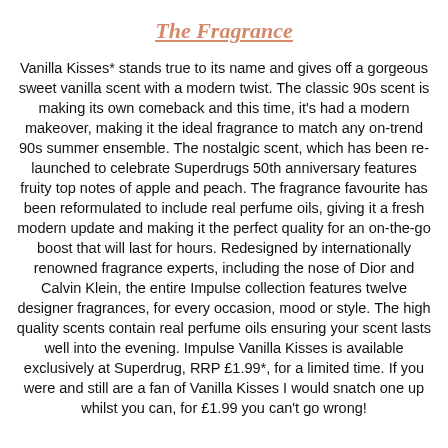The Fragrance
Vanilla Kisses* stands true to its name and gives off a gorgeous sweet vanilla scent with a modern twist. The classic 90s scent is making its own comeback and this time, it's had a modern makeover, making it the ideal fragrance to match any on-trend 90s summer ensemble. The nostalgic scent, which has been re-launched to celebrate Superdrugs 50th anniversary features fruity top notes of apple and peach. The fragrance favourite has been reformulated to include real perfume oils, giving it a fresh modern update and making it the perfect quality for an on-the-go boost that will last for hours. Redesigned by internationally renowned fragrance experts, including the nose of Dior and Calvin Klein, the entire Impulse collection features twelve designer fragrances, for every occasion, mood or style. The high quality scents contain real perfume oils ensuring your scent lasts well into the evening. Impulse Vanilla Kisses is available exclusively at Superdrug, RRP £1.99*, for a limited time. If you were and still are a fan of Vanilla Kisses I would snatch one up whilst you can, for £1.99 you can't go wrong!